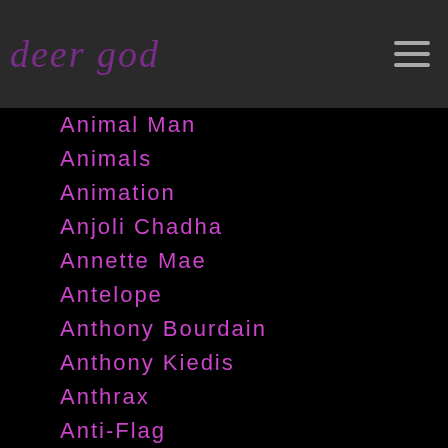deer god
Animal Man
Animals
Animation
Anjoli Chadha
Annette Mae
Antelope
Anthony Bourdain
Anthony Kiedis
Anthrax
Anti-Flag
Antonio Avalos
Antonio Carlos Jobim
Anton Newcombe
AOC
A Perfect Circle
Aphex Twin
Apple Music